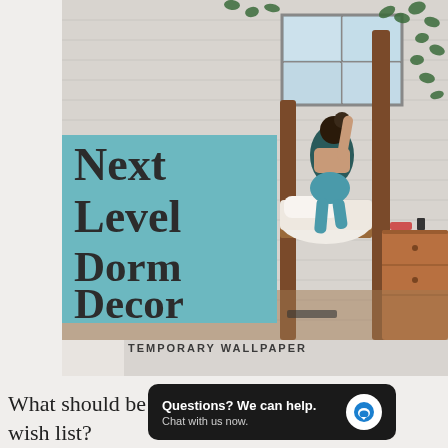[Figure (photo): Dorm room scene with a person climbing a loft bed against a white brick wall decorated with trailing green ivy plants. A wooden nightstand is visible to the right. Overlaid teal box with large bold text reading 'Next Level Dorm Decor' and subtitle 'TEMPORARY WALLPAPER' below.]
What should be on every incoming student's wish list?